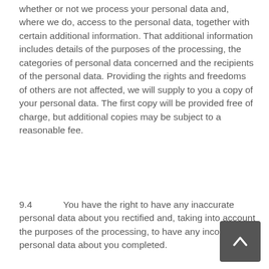whether or not we process your personal data and, where we do, access to the personal data, together with certain additional information. That additional information includes details of the purposes of the processing, the categories of personal data concerned and the recipients of the personal data. Providing the rights and freedoms of others are not affected, we will supply to you a copy of your personal data. The first copy will be provided free of charge, but additional copies may be subject to a reasonable fee.
9.4      You have the right to have any inaccurate personal data about you rectified and, taking into account the purposes of the processing, to have any incomplete personal data about you completed.